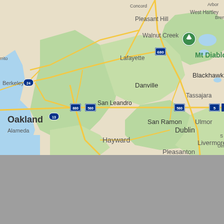[Figure (map): Google Maps view of the East Bay area of California showing Oakland, Berkeley, San Leandro, Hayward, Danville, San Ramon, Dublin, Pleasanton, Livermore, Blackhawk, Tassajara, Walnut Creek, Lafayette, Pleasant Hill, Mt Diablo with highway markers for I-580, I-680, I-880, Hwy 13, Hwy 24]
[Figure (other): Gray/blank area at the bottom of the page]